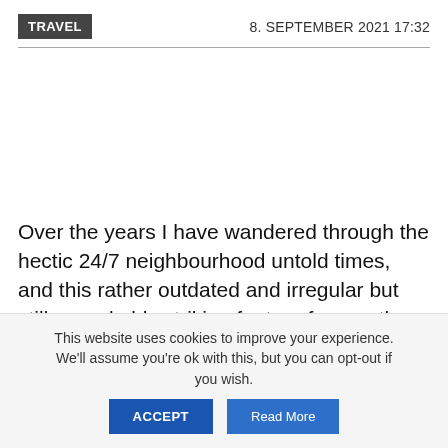TRAVEL   8. SEPTEMBER 2021 17:32
Over the years I have wandered through the hectic 24/7 neighbourhood untold times, and this rather outdated and irregular but still remarkably striking feature frequently caught my eye in passing. Ridiculous this matter may be but at least it was
This website uses cookies to improve your experience. We'll assume you're ok with this, but you can opt-out if you wish.
ACCEPT   Read More